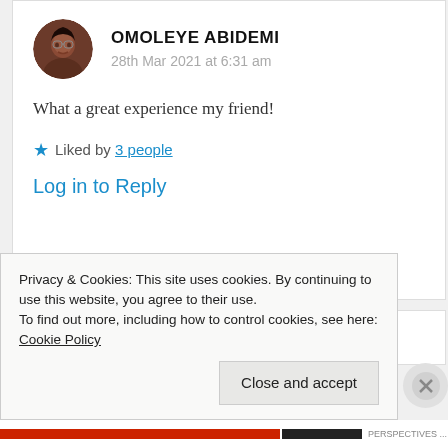OMOLEYE ABIDEMI
28th Mar 2021 at 6:31 am
What a great experience my friend!
★ Liked by 3 people
Log in to Reply
Privacy & Cookies: This site uses cookies. By continuing to use this website, you agree to their use.
To find out more, including how to control cookies, see here: Cookie Policy
Close and accept